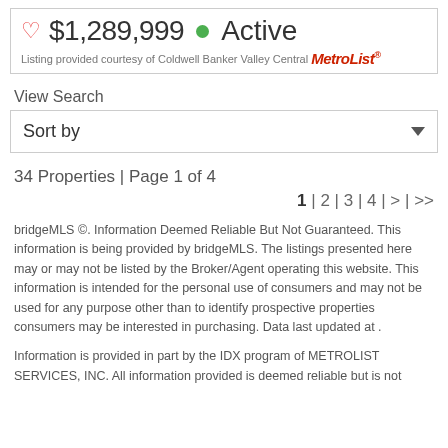♡ $1,289,999 ● Active
Listing provided courtesy of Coldwell Banker Valley Central MetroList®
View Search
Sort by
34 Properties | Page 1 of 4
1 | 2 | 3 | 4 | > | >>
bridgeMLS ©. Information Deemed Reliable But Not Guaranteed. This information is being provided by bridgeMLS. The listings presented here may or may not be listed by the Broker/Agent operating this website. This information is intended for the personal use of consumers and may not be used for any purpose other than to identify prospective properties consumers may be interested in purchasing. Data last updated at .
Information is provided in part by the IDX program of METROLIST SERVICES, INC. All information provided is deemed reliable but is not